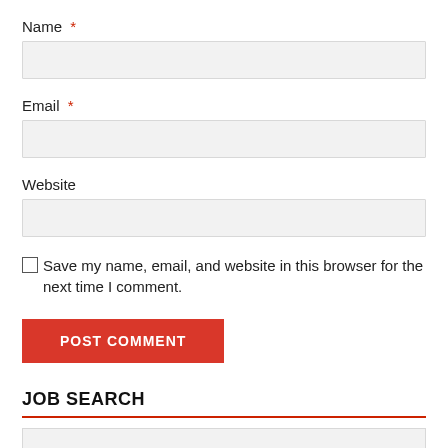Name *
[Figure (other): Text input field for Name]
Email *
[Figure (other): Text input field for Email]
Website
[Figure (other): Text input field for Website]
Save my name, email, and website in this browser for the next time I comment.
POST COMMENT
JOB SEARCH
[Figure (other): Search input field area at bottom]